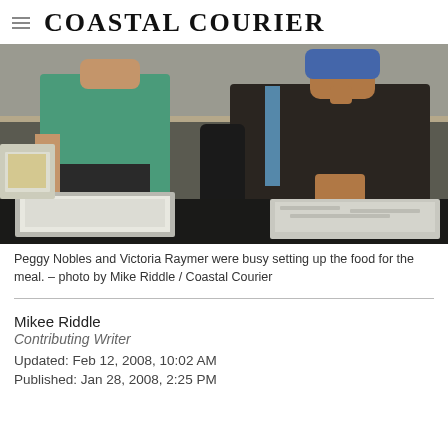Coastal Courier
[Figure (photo): Two women standing in a kitchen setting up food in large aluminum trays. One woman wears a teal/green sweater, the other wears a dark jacket. Food trays with white contents (rice or similar) are on a table in the foreground.]
Peggy Nobles and Victoria Raymer were busy setting up the food for the meal. – photo by Mike Riddle / Coastal Courier
Mikee Riddle
Contributing Writer
Updated: Feb 12, 2008, 10:02 AM
Published: Jan 28, 2008, 2:25 PM